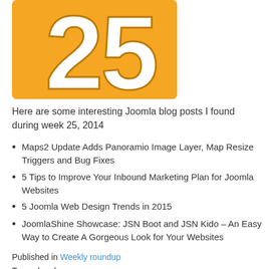[Figure (illustration): Orange rounded-rectangle tile with large white number '25' displayed prominently in the center]
Here are some interesting Joomla blog posts I found during week 25, 2014
Maps2 Update Adds Panoramio Image Layer, Map Resize Triggers and Bug Fixes
5 Tips to Improve Your Inbound Marketing Plan for Joomla Websites
5 Joomla Web Design Trends in 2015
JoomlaShine Showcase: JSN Boot and JSN Kido – An Easy Way to Create A Gorgeous Look for Your Websites
Published in Weekly roundup
Tagged under